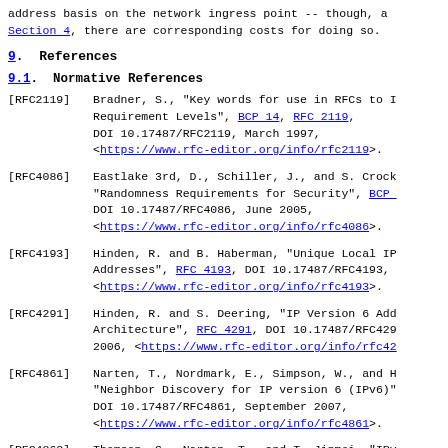address basis on the network ingress point -- though, as discussed in Section 4, there are corresponding costs for doing so.
9.  References
9.1.  Normative References
[RFC2119]   Bradner, S., "Key words for use in RFCs to Indicate Requirement Levels", BCP 14, RFC 2119, DOI 10.17487/RFC2119, March 1997, <https://www.rfc-editor.org/info/rfc2119>.
[RFC4086]   Eastlake 3rd, D., Schiller, J., and S. Crocker, "Randomness Requirements for Security", BCP ..., DOI 10.17487/RFC4086, June 2005, <https://www.rfc-editor.org/info/rfc4086>.
[RFC4193]   Hinden, R. and B. Haberman, "Unique Local IP Addresses", RFC 4193, DOI 10.17487/RFC4193, <https://www.rfc-editor.org/info/rfc4193>.
[RFC4291]   Hinden, R. and S. Deering, "IP Version 6 Add Architecture", RFC 4291, DOI 10.17487/RFC429 2006, <https://www.rfc-editor.org/info/rfc42...>.
[RFC4861]   Narten, T., Nordmark, E., Simpson, W., and H. "Neighbor Discovery for IP version 6 (IPv6)" DOI 10.17487/RFC4861, September 2007, <https://www.rfc-editor.org/info/rfc4861>.
[RFC4862]   Thomson, S., Narten, T., and T. Jinmei, "IPv..."